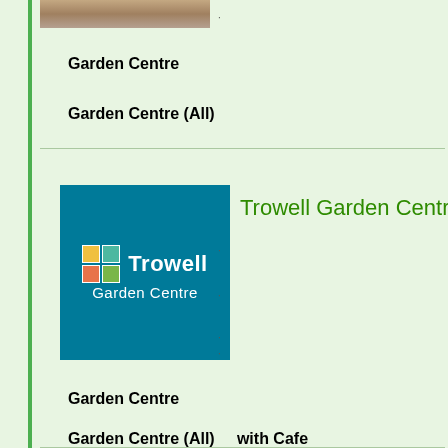[Figure (photo): Partial view of garden products/terracotta pots on a surface]
Garden Centre
Garden Centre (All)
[Figure (logo): Trowell Garden Centre logo — teal blue square with 2x2 colored grid icon and white text 'Trowell Garden Centre']
Trowell Garden Centre
Garden Centre
Garden Centre (All)     with Cafe